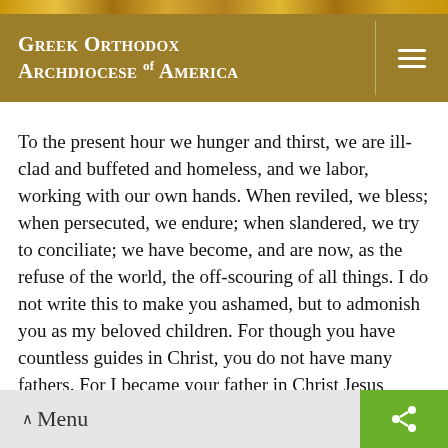Greek Orthodox Archdiocese of America
To the present hour we hunger and thirst, we are ill-clad and buffeted and homeless, and we labor, working with our own hands. When reviled, we bless; when persecuted, we endure; when slandered, we try to conciliate; we have become, and are now, as the refuse of the world, the off-scouring of all things. I do not write this to make you ashamed, but to admonish you as my beloved children. For though you have countless guides in Christ, you do not have many fathers. For I became your father in Christ Jesus through the gospel. I urge you, then, be imitators of me.
^ Menu